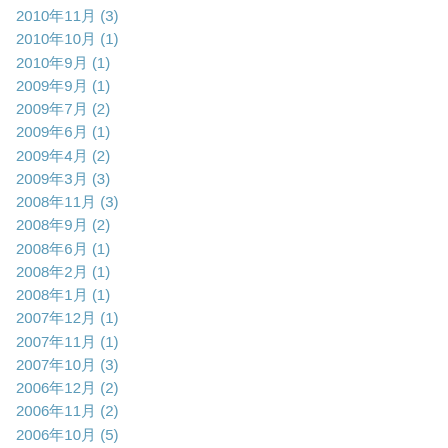2010年11月 (3)
2010年10月 (1)
2010年9月 (1)
2009年9月 (1)
2009年7月 (2)
2009年6月 (1)
2009年4月 (2)
2009年3月 (3)
2008年11月 (3)
2008年9月 (2)
2008年6月 (1)
2008年2月 (1)
2008年1月 (1)
2007年12月 (1)
2007年11月 (1)
2007年10月 (3)
2006年12月 (2)
2006年11月 (2)
2006年10月 (5)
2006年9月 (5)
2006年8月 (4)
2006年7月 (7)
2006年6月 (3)